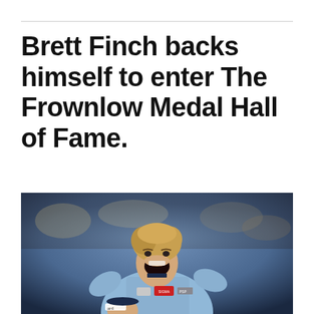Brett Finch backs himself to enter The Frownlow Medal Hall of Fame.
[Figure (photo): Brett Finch, rugby league player, celebrating with mouth open wide and fist raised, wearing a light blue NSW Blues jersey with sponsors including CCC and PSP visible, crowd blurred in background.]